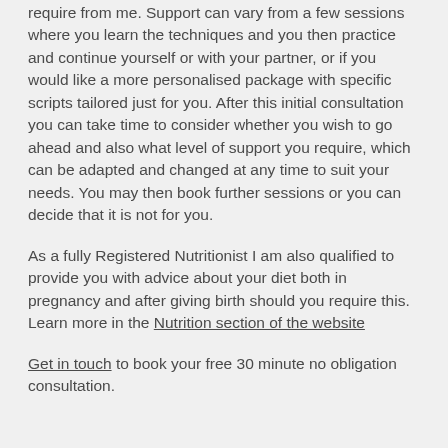require from me. Support can vary from a few sessions where you learn the techniques and you then practice and continue yourself or with your partner, or if you would like a more personalised package with specific scripts tailored just for you. After this initial consultation you can take time to consider whether you wish to go ahead and also what level of support you require, which can be adapted and changed at any time to suit your needs. You may then book further sessions or you can decide that it is not for you.
As a fully Registered Nutritionist I am also qualified to provide you with advice about your diet both in pregnancy and after giving birth should you require this. Learn more in the Nutrition section of the website
Get in touch to book your free 30 minute no obligation consultation.